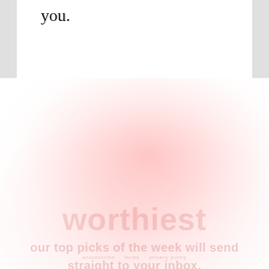you.
[Figure (screenshot): Newsletter sign-up widget with pink/red radial glow background. Large faded watermark text 'worthiest' in the center. Below it, faded subtitle text. A sign-up bar with 'SIGN ME UP' input field on left and 'YES PLEASE' button on right.]
SIGN ME UP
YES PLEASE
unsubscribe · terms · privacy policy